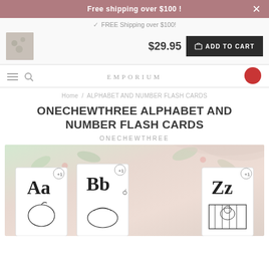Free shipping over $100 !
FREE Shipping over $100!
$29.95  ADD TO CART
EMPORIUM
Home / ALPHABET AND NUMBER FLASH CARDS
ONECHEWTHREE ALPHABET AND NUMBER FLASH CARDS
ONECHEWTHREE
[Figure (photo): Alphabet and number flash cards (Aa, Bb, Zz) laid out on a floral fabric background]